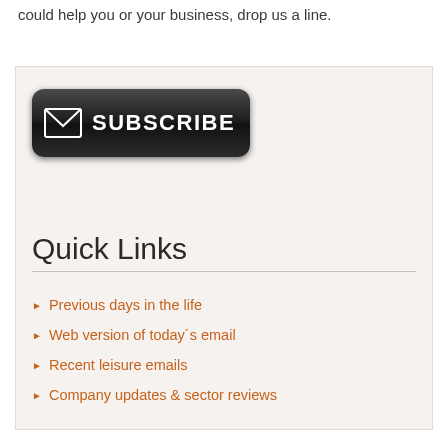could help you or your business, drop us a line.
[Figure (other): Subscribe button — dark rounded rectangle with envelope icon and SUBSCRIBE text in white]
Quick Links
Previous days in the life
Web version of today´s email
Recent leisure emails
Company updates & sector reviews